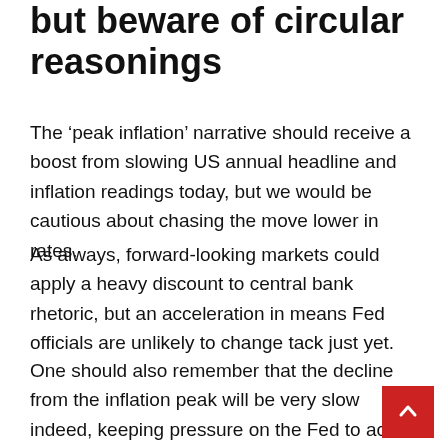but beware of circular reasonings
The 'peak inflation' narrative should receive a boost from slowing US annual headline and inflation readings today, but we would be cautious about chasing the move lower in rates.
As always, forward-looking markets could apply a heavy discount to central bank rhetoric, but an acceleration in means Fed officials are unlikely to change tack just yet.
One should also remember that the decline from the inflation peak will be very slow indeed, keeping pressure on the Fed to act.